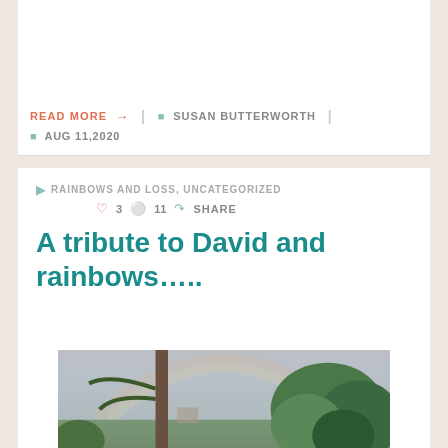READ MORE → | SUSAN BUTTERWORTH | AUG 11,2020
RAINBOWS AND LOSS, UNCATEGORIZED  ♡ 3  ◯ 11  SHARE
A tribute to David and rainbows…..
[Figure (photo): Outdoor tropical scene with a palm tree on the left, cloudy sky with rainbow hues, and lush green trees on the right]